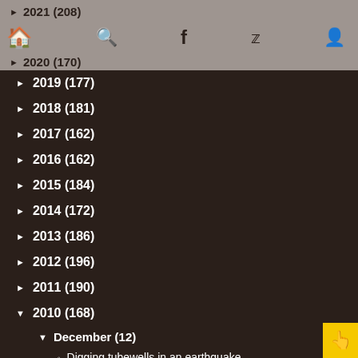2021 (208) | 2020 (170)
2019 (177)
2018 (181)
2017 (162)
2016 (162)
2015 (184)
2014 (172)
2013 (186)
2012 (196)
2011 (190)
2010 (168)
December (12)
Digging tubewells in an earthquake
Coastal surveillance network extended to Minicoy
A two-missile Prithvi salvo successfully test-fire…